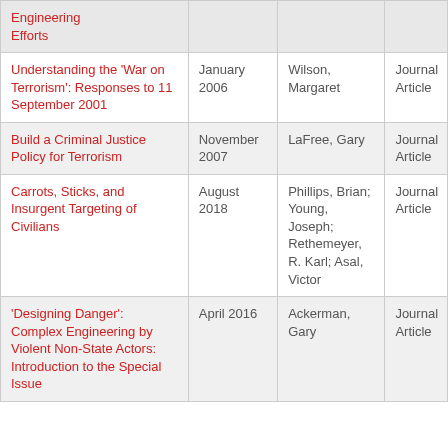| Title | Date | Author | Type |
| --- | --- | --- | --- |
| Engineering Efforts |  |  |  |
| Understanding the 'War on Terrorism': Responses to 11 September 2001 | January 2006 | Wilson, Margaret | Journal Article |
| Build a Criminal Justice Policy for Terrorism | November 2007 | LaFree, Gary | Journal Article |
| Carrots, Sticks, and Insurgent Targeting of Civilians | August 2018 | Phillips, Brian; Young, Joseph; Rethemeyer, R. Karl; Asal, Victor | Journal Article |
| 'Designing Danger': Complex Engineering by Violent Non-State Actors: Introduction to the Special Issue | April 2016 | Ackerman, Gary | Journal Article |